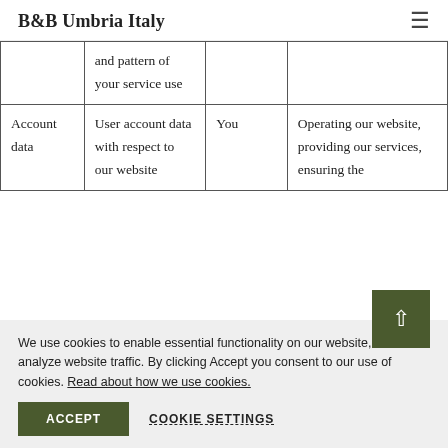B&B Umbria Italy
|  | and pattern of your service use |  |  |
| Account data | User account data with respect to our website | You | Operating our website, providing our services, ensuring the security of our website, providing services, maintaining backups of our |
We use cookies to enable essential functionality on our website, and analyze website traffic. By clicking Accept you consent to our use of cookies. Read about how we use cookies.